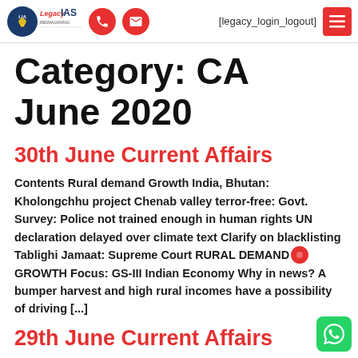Legacy IAS — [legacy_login_logout]
Category: CA June 2020
30th June Current Affairs
Contents Rural demand Growth India, Bhutan: Kholongchhu project Chenab valley terror-free: Govt. Survey: Police not trained enough in human rights UN declaration delayed over climate text Clarify on blacklisting Tablighi Jamaat: Supreme Court RURAL DEMAND GROWTH Focus: GS-III Indian Economy Why in news? A bumper harvest and high rural incomes have a possibility of driving [...]
29th June Current Affairs